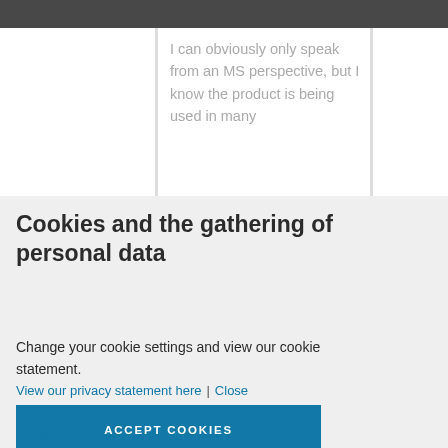I can obviously only speak from an MS perspective, but I know the product is being used in many
Cookies and the gathering of personal data
Change your cookie settings and view our cookie statement.
View our privacy statement here | Close
ACCEPT COOKIES
Cookie Settings